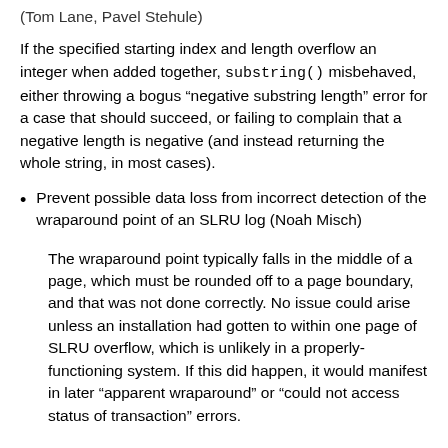(Tom Lane, Pavel Stehule)
If the specified starting index and length overflow an integer when added together, substring() misbehaved, either throwing a bogus “negative substring length” error for a case that should succeed, or failing to complain that a negative length is negative (and instead returning the whole string, in most cases).
Prevent possible data loss from incorrect detection of the wraparound point of an SLRU log (Noah Misch)
The wraparound point typically falls in the middle of a page, which must be rounded off to a page boundary, and that was not done correctly. No issue could arise unless an installation had gotten to within one page of SLRU overflow, which is unlikely in a properly-functioning system. If this did happen, it would manifest in later “apparent wraparound” or “could not access status of transaction” errors.